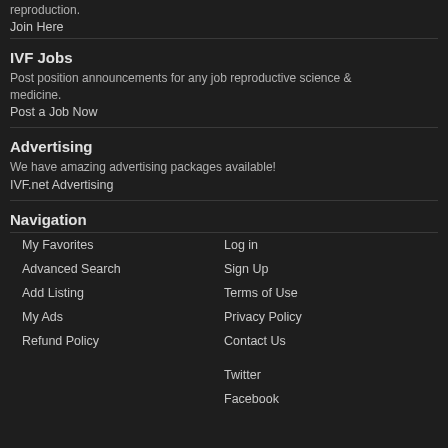reproduction.
Join Here
IVF Jobs
Post position announcements for any job reproductive science & medicine.
Post a Job Now
Advertising
We have amazing advertising packages available!
IVF.net Advertising
Navigation
My Favorites
Log in
Advanced Search
Sign Up
Add Listing
Terms of Use
My Ads
Privacy Policy
Refund Policy
Contact Us
Twitter
Facebook